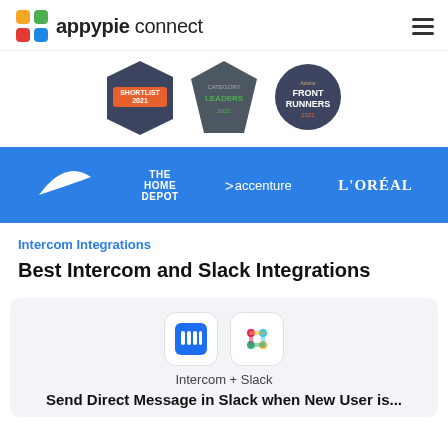appypie connect
[Figure (logo): Appypie Connect logo with colorful four-square icon and text 'appypie connect']
[Figure (infographic): Three award badges: Shortlist 2021, Category Leaders 2021, Front Runners 2021]
[Figure (infographic): Blue brand strip showing logos: Nike, The Home Depot, accenture, L'OREAL]
Intercom Integrations
Best Intercom and Slack Integrations
[Figure (illustration): Intercom + Slack app icons side by side with label 'Intercom + Slack']
Intercom + Slack
Send Direct Message in Slack when New User is...